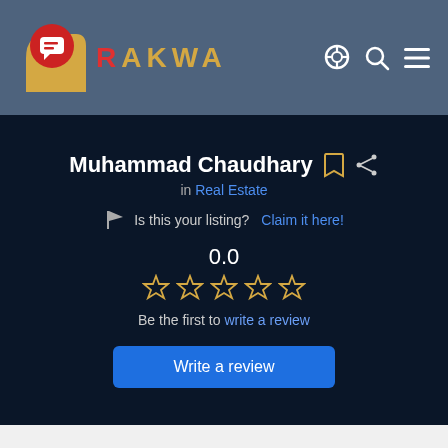[Figure (logo): RAKWA logo with red and yellow icon and gold lettering on a steel-blue header bar]
Muhammad Chaudhary
in Real Estate
Is this your listing? Claim it here!
0.0
☆ ☆ ☆ ☆ ☆
Be the first to write a review
Write a review